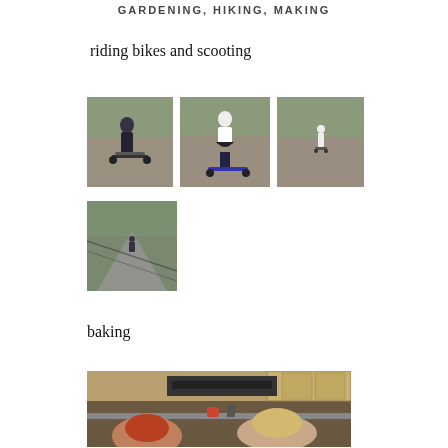GARDENING, HIKING, MAKING
riding bikes and scooting
[Figure (photo): Three photos side by side of children riding scooters on a paved path outdoors with bare trees in background]
[Figure (photo): Single photo of a child riding a scooter or bike on a paved path with fence shadow visible]
baking
[Figure (photo): Wide photo of two children in a kitchen baking, with kitchen appliances and cabinets visible in background]